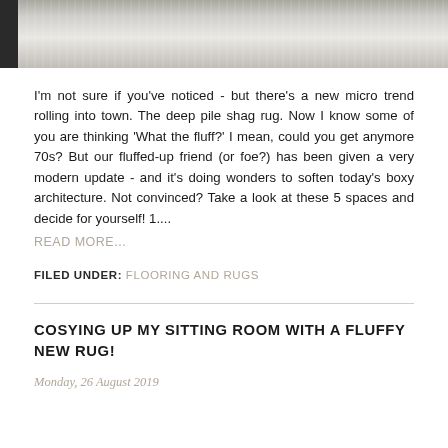[Figure (photo): Top portion of a fluffy white/grey shag rug with a dark edge on the left side, cropped at top of page]
I'm not sure if you've noticed - but there's a new micro trend rolling into town. The deep pile shag rug. Now I know some of you are thinking 'What the fluff?' I mean, could you get anymore 70s? But our fluffed-up friend (or foe?) has been given a very modern update - and it's doing wonders to soften today's boxy architecture. Not convinced? Take a look at these 5 spaces and decide for yourself! 1....
READ MORE...
FILED UNDER: FLOORING AND RUGS
COSYING UP MY SITTING ROOM WITH A FLUFFY NEW RUG!
Monday, 26 August 2019